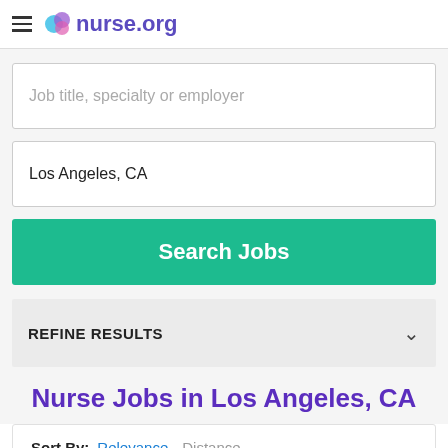nurse.org
Job title, specialty or employer
Los Angeles, CA
Search Jobs
REFINE RESULTS
Nurse Jobs in Los Angeles, CA
Sort By: Relevance  Distance